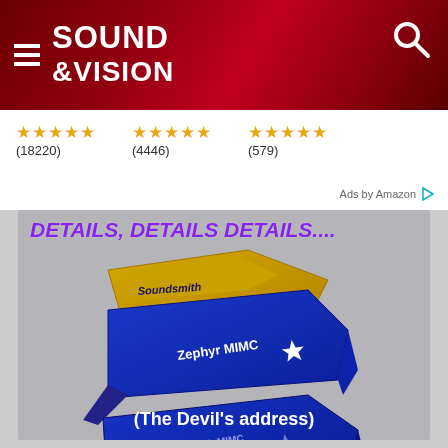SOUND &VISION
★★★★★ (18220)   ★★★★★ (4446)   ★★★★★ (579)   Ads by Amazon
[Figure (photo): Two Soundsmith Zephyr MIMC phono cartridges stacked, in blue and gold colors, labeled 'Soundsmith' and 'Zephyr MIMC*', on a gray background with text 'DETAILS, DETAILS DETAILS....' above and '(The Devil's address)' below.]
(The Devil's address)